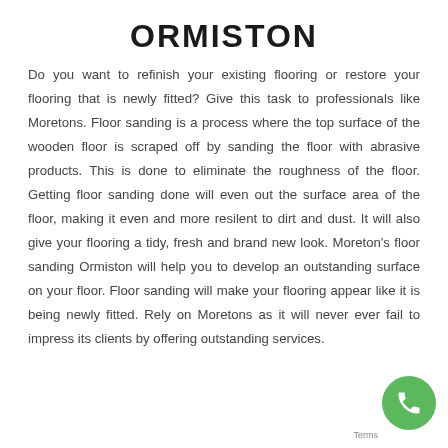ORMISTON
Do you want to refinish your existing flooring or restore your flooring that is newly fitted? Give this task to professionals like Moretons. Floor sanding is a process where the top surface of the wooden floor is scraped off by sanding the floor with abrasive products. This is done to eliminate the roughness of the floor. Getting floor sanding done will even out the surface area of the floor, making it even and more resilent to dirt and dust. It will also give your flooring a tidy, fresh and brand new look. Moreton's floor sanding Ormiston will help you to develop an outstanding surface on your floor. Floor sanding will make your flooring appear like it is being newly fitted. Rely on Moretons as it will never ever fail to impress its clients by offering outstanding services.